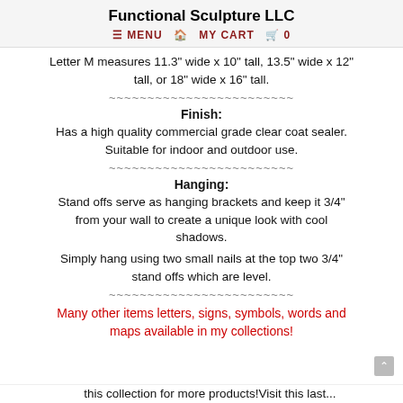Functional Sculpture LLC
≡ MENU  🏠  MY CART  🛒  0
Letter M measures 11.3" wide x 10" tall, 13.5" wide x 12" tall, or 18" wide x 16" tall.
~~~~~~~~~~~~~~~~~~~~~~~~
Finish:
Has a high quality commercial grade clear coat sealer. Suitable for indoor and outdoor use.
~~~~~~~~~~~~~~~~~~~~~~~~
Hanging:
Stand offs serve as hanging brackets and keep it 3/4" from your wall to create a unique look with cool shadows.
Simply hang using two small nails at the top two 3/4" stand offs which are level.
~~~~~~~~~~~~~~~~~~~~~~~~
Many other items letters, signs, symbols, words and maps available in my collections!